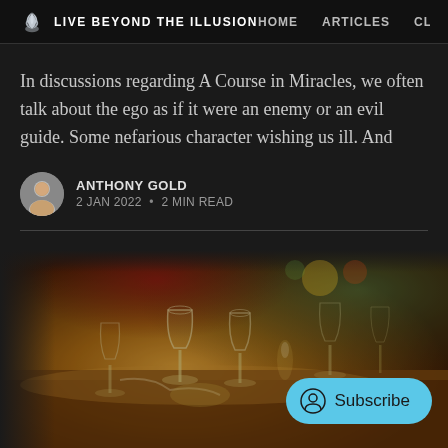LIVE BEYOND THE ILLUSION  HOME  ARTICLES  CLA
In discussions regarding A Course in Miracles, we often talk about the ego as if it were an enemy or an evil guide. Some nefarious character wishing us ill. And
ANTHONY GOLD
2 JAN 2022 • 2 MIN READ
[Figure (photo): Warmly lit restaurant table set with wine glasses and place settings, blurred background with colorful decor, a cyan Subscribe button in bottom right corner]